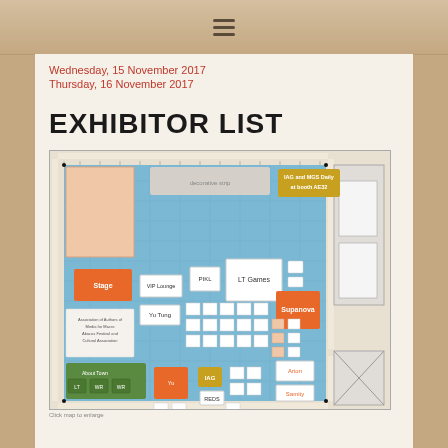≡ (hamburger menu icon)
Wednesday, 15 November 2017
Thursday, 16 November 2017
EXHIBITOR LIST
[Figure (map): Exhibition floor plan showing exhibitor booth layout. Blue floor area with orange booths labeled Stage, VIP Lounge, PIKL, LT Games, Supanova, Yu Tung, IAG, REDS, Samity, Arion, and others. Green area with LT and WR booths. Gold booth labeled IAG. Label in top right: IAG and MGS Daily at booth AE32.]